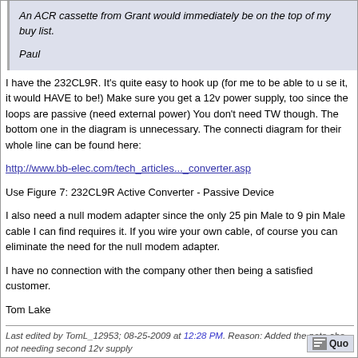An ACR cassette from Grant would immediately be on the top of my buy list.

Paul
I have the 232CL9R. It's quite easy to hook up (for me to be able to use it, it would HAVE to be!) Make sure you get a 12v power supply, too since the loops are passive (need external power) You don't need TWO though. The bottom one in the diagram is unnecessary. The connection diagram for their whole line can be found here:
http://www.bb-elec.com/tech_articles..._converter.asp
Use Figure 7: 232CL9R Active Converter - Passive Device
I also need a null modem adapter since the only 25 pin Male to 9 pin Male cable I can find requires it. If you wire your own cable, of course you can eliminate the need for the null modem adapter.
I have no connection with the company other then being a satisfied customer.
Tom Lake
Last edited by TomL_12953; 08-25-2009 at 12:28 PM. Reason: Added the note about not needing second 12v supply